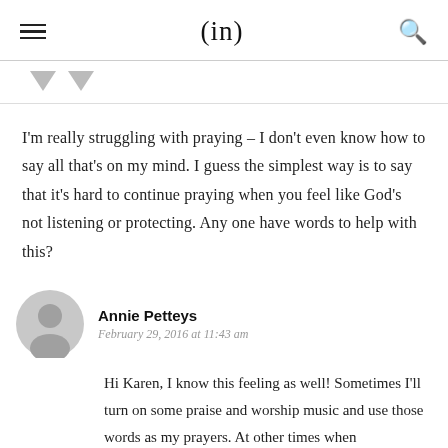(in)
[Figure (illustration): Two grey downward-pointing triangle bunting flags]
I'm really struggling with praying – I don't even know how to say all that's on my mind. I guess the simplest way is to say that it's hard to continue praying when you feel like God's not listening or protecting. Any one have words to help with this?
Annie Petteys
February 29, 2016 at 11:43 am
Hi Karen, I know this feeling as well! Sometimes I'll turn on some praise and worship music and use those words as my prayers. At other times when